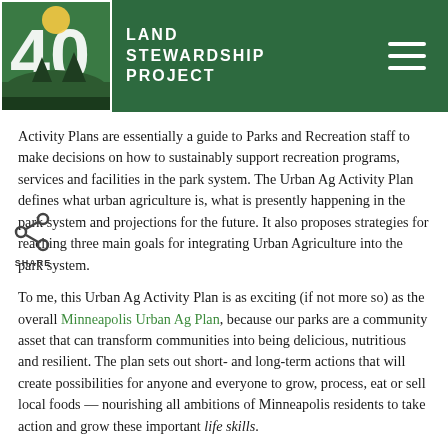Land Stewardship Project
Activity Plans are essentially a guide to Parks and Recreation staff to make decisions on how to sustainably support recreation programs, services and facilities in the park system. The Urban Ag Activity Plan defines what urban agriculture is, what is presently happening in the park system and projections for the future. It also proposes strategies for reaching three main goals for integrating Urban Agriculture into the park system.
To me, this Urban Ag Activity Plan is as exciting (if not more so) as the overall Minneapolis Urban Ag Plan, because our parks are a community asset that can transform communities into being delicious, nutritious and resilient. The plan sets out short- and long-term actions that will create possibilities for anyone and everyone to grow, process, eat or sell local foods — nourishing all ambitions of Minneapolis residents to take action and grow these important life skills.
I am fortunate to serve on the Community Advisory Committee...